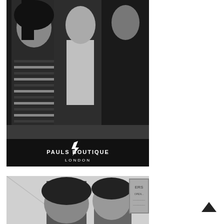[Figure (photo): Black and white photo of three people posing together indoors. One person wears a striped shirt. At the bottom of the image is a logo reading 'PAULS BOUTIQUE LONDON' with a lightning bolt symbol.]
[Figure (photo): Black and white photo partially visible showing two people, cropped at the bottom of the page. A sign partially visible in the background.]